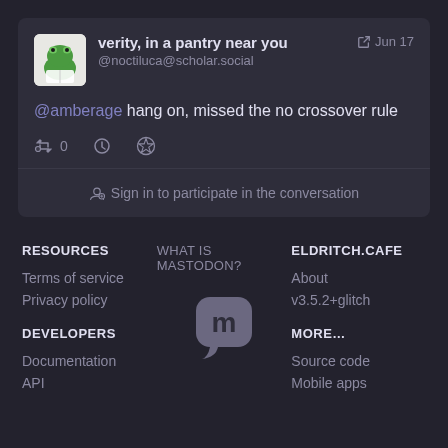verity, in a pantry near you @noctiluca@scholar.social  Jun 17
@amberage hang on, missed the no crossover rule
0
Sign in to participate in the conversation
RESOURCES
Terms of service
Privacy policy
DEVELOPERS
Documentation
API
WHAT IS MASTODON?
[Figure (logo): Mastodon logo - letter M in a rounded square chat-bubble shape, gray color]
ELDRITCH.CAFE
About
v3.5.2+glitch
MORE…
Source code
Mobile apps